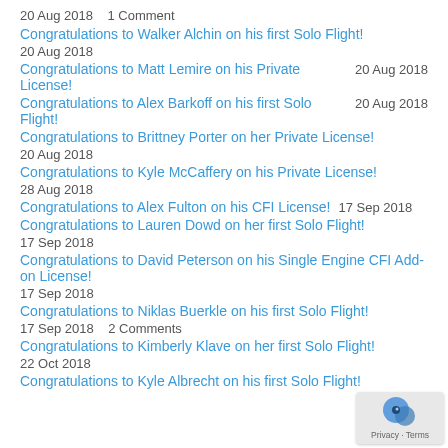20 Aug 2018    1 Comment
Congratulations to Walker Alchin on his first Solo Flight!
20 Aug 2018
Congratulations to Matt Lemire on his Private License!    20 Aug 2018
Congratulations to Alex Barkoff on his first Solo Flight!    20 Aug 2018
Congratulations to Brittney Porter on her Private License!
20 Aug 2018
Congratulations to Kyle McCaffery on his Private License!
28 Aug 2018
Congratulations to Alex Fulton on his CFI License!    17 Sep 2018
Congratulations to Lauren Dowd on her first Solo Flight!
17 Sep 2018
Congratulations to David Peterson on his Single Engine CFI Add-on License!
17 Sep 2018
Congratulations to Niklas Buerkle on his first Solo Flight!
17 Sep 2018    2 Comments
Congratulations to Kimberly Klave on her first Solo Flight!
22 Oct 2018
Congratulations to Kyle Albrecht on his first Solo Flight!